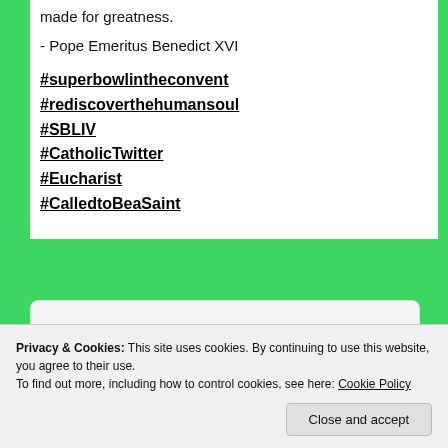made for greatness.
- Pope Emeritus Benedict XVI
#superbowlintheconvent
#rediscoverthehumansoul
#SBLIV
#CatholicTwitter
#Eucharist
#CalledtoBeaSaint
[Figure (screenshot): Twitter video embed showing handwritten text 'Super Bowl in the Convent' with a 'Watch on Twitter' button]
Privacy & Cookies: This site uses cookies. By continuing to use this website, you agree to their use. To find out more, including how to control cookies, see here: Cookie Policy
Close and accept